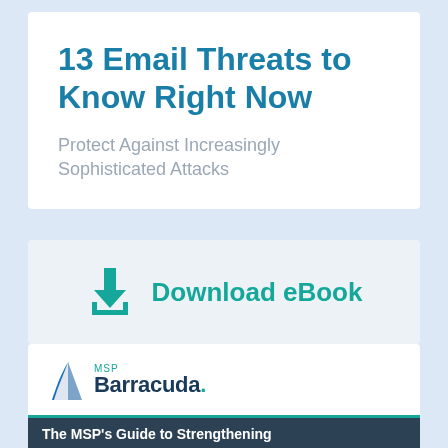13 Email Threats to Know Right Now
Protect Against Increasingly Sophisticated Attacks
Download eBook
[Figure (logo): MSP Barracuda logo with teal shark fin icon and company name]
The MSP's Guide to Strengthening